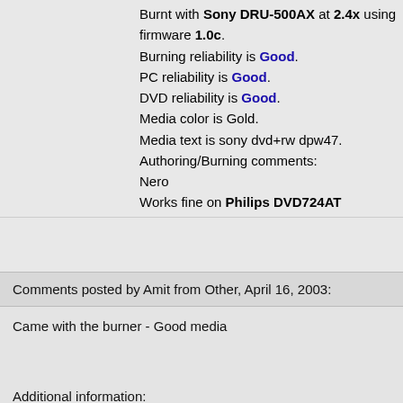Burnt with Sony DRU-500AX at 2.4x using firmware 1.0c. Burning reliability is Good. PC reliability is Good. DVD reliability is Good. Media color is Gold. Media text is sony dvd+rw dpw47. Authoring/Burning comments: Nero Works fine on Philips DVD724AT
Comments posted by Amit from Other, April 16, 2003:
Came with the burner - Good media
Additional information:
Burnt with Sony DRU-500A at 2.4x Burning reliability is Good. PC reliability is Good.